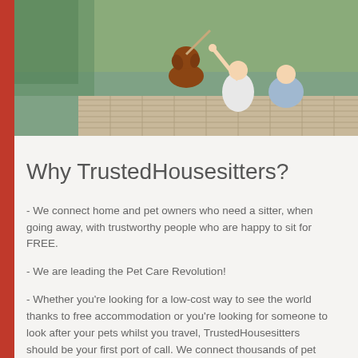[Figure (photo): Photo of a brown dog sitting on a wooden dock with two people beside a lake, against a green background]
Why TrustedHousesitters?
- We connect home and pet owners who need a sitter, when going away, with trustworthy people who are happy to sit for FREE.
- We are leading the Pet Care Revolution!
- Whether you're looking for a low-cost way to see the world thanks to free accommodation or you're looking for someone to look after your pets whilst you travel, TrustedHousesitters should be your first port of call. We connect thousands of pet owners with reliable people who will look after their pets in return for free accommodation.